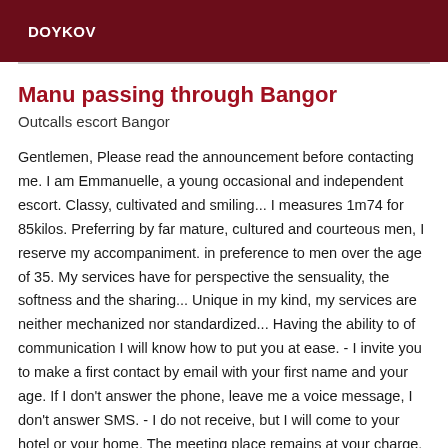DOYKOV
Manu passing through Bangor
Outcalls escort Bangor
Gentlemen, Please read the announcement before contacting me. I am Emmanuelle, a young occasional and independent escort. Classy, cultivated and smiling... I measures 1m74 for 85kilos. Preferring by far mature, cultured and courteous men, I reserve my accompaniment. in preference to men over the age of 35. My services have for perspective the sensuality, the softness and the sharing... Unique in my kind, my services are neither mechanized nor standardized... Having the ability to of communication I will know how to put you at ease. - I invite you to make a first contact by email with your first name and your age. If I don't answer the phone, leave me a voice message, I don't answer SMS. - I do not receive, but I will come to your hotel or your home. The meeting place remains at your charge. -